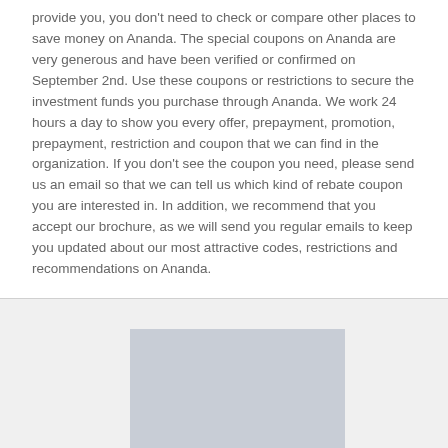provide you, you don't need to check or compare other places to save money on Ananda. The special coupons on Ananda are very generous and have been verified or confirmed on September 2nd. Use these coupons or restrictions to secure the investment funds you purchase through Ananda. We work 24 hours a day to show you every offer, prepayment, promotion, prepayment, restriction and coupon that we can find in the organization. If you don't see the coupon you need, please send us an email so that we can tell us which kind of rebate coupon you are interested in. In addition, we recommend that you accept our brochure, as we will send you regular emails to keep you updated about our most attractive codes, restrictions and recommendations on Ananda.
[Figure (other): Gray placeholder image/advertisement block]